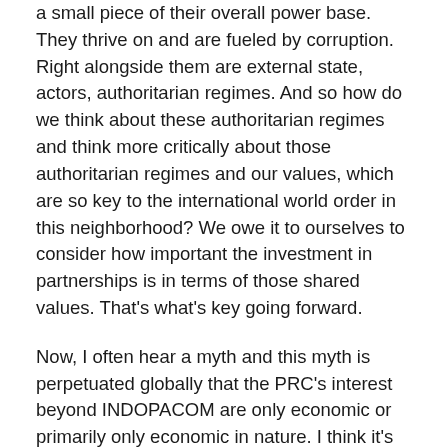a small piece of their overall power base. They thrive on and are fueled by corruption. Right alongside them are external state, actors, authoritarian regimes. And so how do we think about these authoritarian regimes and think more critically about those authoritarian regimes and our values, which are so key to the international world order in this neighborhood? We owe it to ourselves to consider how important the investment in partnerships is in terms of those shared values. That's what's key going forward.
Now, I often hear a myth and this myth is perpetuated globally that the PRC's interest beyond INDOPACOM are only economic or primarily only economic in nature. I think it's global dominance to ensure their economic security and the security of the People's Republic of China, the Communist Party. That's key. This myth often obscures the inconvenient truth that Chinese Communist Party, with its insidious and corrupt influence, seeks global dominance, wants to impose its own version of existing rules based international order. They want to create a system in which authoritarian regimes are